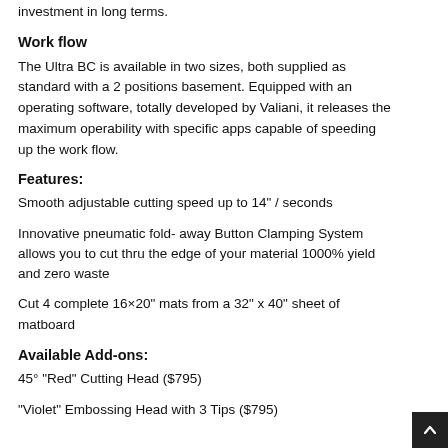investment in long terms.
Work flow
The Ultra BC is available in two sizes, both supplied as standard with a 2 positions basement. Equipped with an operating software, totally developed by Valiani, it releases the maximum operability with specific apps capable of speeding up the work flow.
Features:
Smooth adjustable cutting speed up to 14" / seconds
Innovative pneumatic fold- away Button Clamping System allows you to cut thru the edge of your material 1000% yield and zero waste
Cut 4 complete 16×20" mats from a 32" x 40" sheet of matboard
Available Add-ons:
45° "Red" Cutting Head ($795)
"Violet" Embossing Head with 3 Tips ($795)